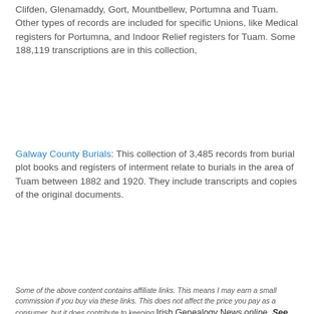Clifden, Glenamaddy, Gort, Mountbellew, Portumna and Tuam. Other types of records are included for specific Unions, like Medical registers for Portumna, and Indoor Relief registers for Tuam. Some 188,119 transcriptions are in this collection,
Galway County Burials: This collection of 3,485 records from burial plot books and registers of interment relate to burials in the area of Tuam between 1882 and 1920. They include transcripts and copies of the original documents.
Some of the above content contains affiliate links. This means I may earn a small commission if you buy via these links. This does not affect the price you pay as a consumer, but it does contribute to keeping Irish Genealogy News online. See Advertising Disclosure tab above.
Claire Santry, Irish Genealogy News
Share